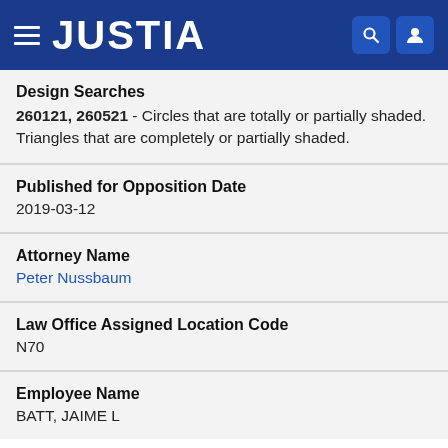JUSTIA
Design Searches
260121, 260521 - Circles that are totally or partially shaded. Triangles that are completely or partially shaded.
Published for Opposition Date
2019-03-12
Attorney Name
Peter Nussbaum
Law Office Assigned Location Code
N70
Employee Name
BATT, JAIME L